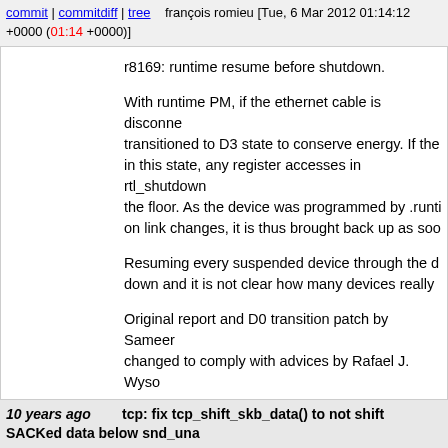commit | commitdiff | tree   françois romieu [Tue, 6 Mar 2012 01:14:12 +0000 (01:14 +0000)]
r8169: runtime resume before shutdown.

With runtime PM, if the ethernet cable is disconnected, the device is transitioned to D3 state to conserve energy. If the device is shut down in this state, any register accesses in rtl_shutdown would fall through the floor. As the device was programmed by .runtime_resume to wake up on link changes, it is thus brought back up as soon as it goes down.

Resuming every suspended device through the driver is too heavy handed down and it is not clear how many devices really need that.

Original report and D0 transition patch by Sameer changed to comply with advices by Rafael J. Wysocki.
Reported-by: Sameer Nanda <snanda@chromium.org>
Signed-off-by: Francois Romieu <romieu@fr.zoreil.com>
Cc: Rafael J. Wysocki <rjw@sisk.pl>
Cc: Hayes Wang <hayeswang@realtek.com>
Cc: Alan Stern <stern@rowland.harvard.edu>
Acked-by: Rafael J. Wysocki <rjw@sisk.pl>
Signed-off-by: David S. Miller <davem@davemloft.net>
10 years ago   tcp: fix tcp_shift_skb_data() to not shift SACKed data below snd_una